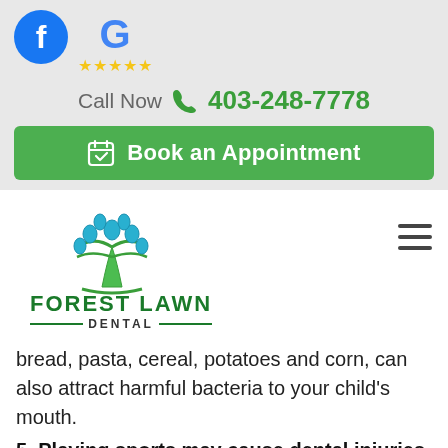[Figure (logo): Facebook logo circle blue with white F]
[Figure (logo): Google G multicolor logo with 5 gold star rating]
Call Now 403-248-7778
Book an Appointment
[Figure (logo): Forest Lawn Dental logo - blue tooth tree with green text FOREST LAWN DENTAL]
bread, pasta, cereal, potatoes and corn, can also attract harmful bacteria to your child's mouth.
5. Playing sports may cause dental injuries
Participating in some sports is a common cause of